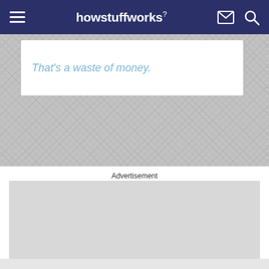howstuffworks
That's a waste of money.
Advertisement
[Figure (other): Advertisement placeholder — large light gray rectangle]